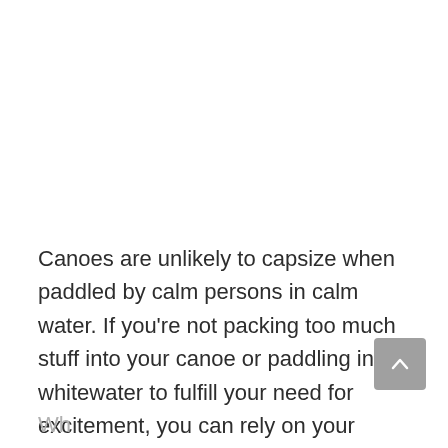Canoes are unlikely to capsize when paddled by calm persons in calm water. If you're not packing too much stuff into your canoe or paddling into whitewater to fulfill your need for excitement, you can rely on your canoe to get you to and from shore safely.
Wh...